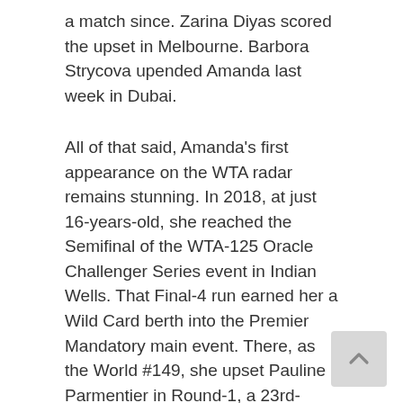a match since. Zarina Diyas scored the upset in Melbourne. Barbora Strycova upended Amanda last week in Dubai.
All of that said, Amanda's first appearance on the WTA radar remains stunning. In 2018, at just 16-years-old, she reached the Semifinal of the WTA-125 Oracle Challenger Series event in Indian Wells. That Final-4 run earned her a Wild Card berth into the Premier Mandatory main event. There, as the World #149, she upset Pauline Parmentier in Round-1, a 23rd-ranked Anastasia Pavlyuchenkova in Round-2, and World #9 Petra Kvitova in Round-3. At the time, Petra was on a 14-match win-streak, having captured both the St. Petersburg and 2018 Qatar Total Open titles.